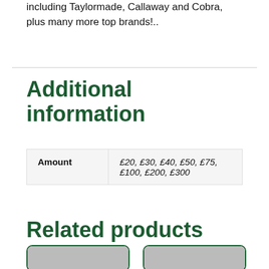including Taylormade, Callaway and Cobra, plus many more top brands!..
Additional information
| Amount |  |
| --- | --- |
| Amount | £20, £30, £40, £50, £75, £100, £200, £300 |
Related products